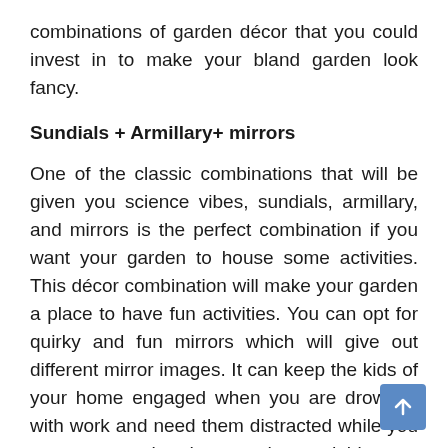combinations of garden décor that you could invest in to make your bland garden look fancy.
Sundials + Armillary+ mirrors
One of the classic combinations that will be given you science vibes, sundials, armillary, and mirrors is the perfect combination if you want your garden to house some activities. This décor combination will make your garden a place to have fun activities. You can opt for quirky and fun mirrors which will give out different mirror images. It can keep the kids of your home engaged when you are drowned with work and need them distracted while you try to get your head wrapped around things.